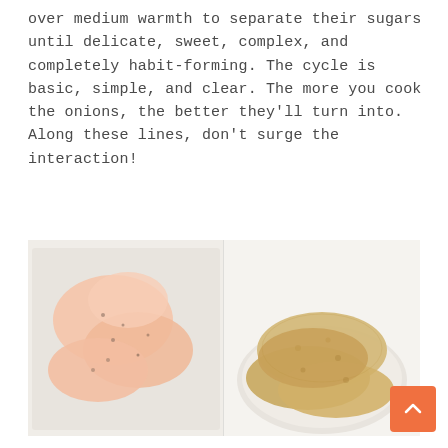over medium warmth to separate their sugars until delicate, sweet, complex, and completely habit-forming. The cycle is basic, simple, and clear. The more you cook the onions, the better they'll turn into. Along these lines, don't surge the interaction!
[Figure (photo): Two side-by-side food photos: left shows raw seasoned chicken cutlets laid flat on a white cutting board; right shows cooked golden-brown breaded chicken cutlets stacked on a white plate.]